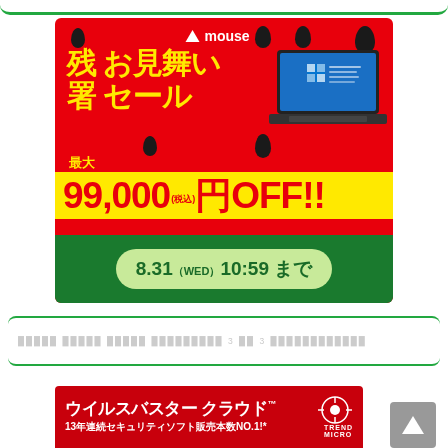[Figure (infographic): Mouse computer advertisement banner on red background. Shows 残暑お見舞いセール (Remaining Summer Greeting Sale), with laptop image, maximum 99,000 yen OFF (tax included), valid until 8.31 (WED) 10:59]
xxxxxx xxxxxx xxxxxx xxxxxxxxxxxx 3 xx 3 xxxxxxxxxxxxxxxx
[Figure (infographic): ウイルスバスター クラウド (Virus Buster Cloud) by Trend Micro advertisement. 13年連続セキュリティソフト販売本数NO.1!* (13 consecutive years security software sales number 1)]